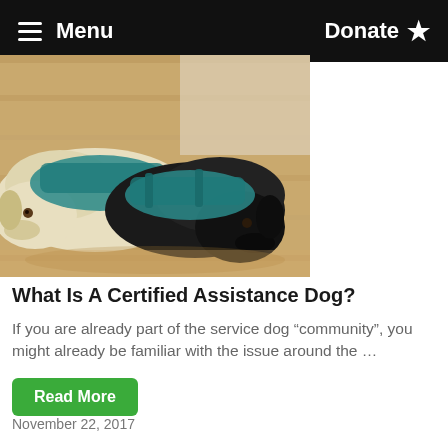Menu   Donate ★
[Figure (photo): Two Labrador Retrievers lying on a wood floor, one yellow and one black, both wearing teal service dog vests/harnesses]
What Is A Certified Assistance Dog?
If you are already part of the service dog “community”, you might already be familiar with the issue around the …
Read More
November 22, 2017
[Figure (photo): Partial view of another photo at bottom of page (cropped)]